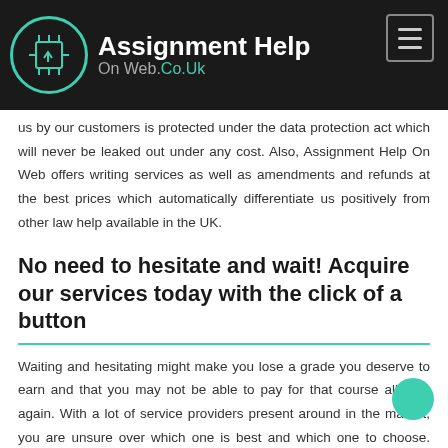Assignment Help On Web.Co.Uk
...us by our customers is protected under the data protection act which will never be leaked out under any cost. Also, Assignment Help On Web offers writing services as well as amendments and refunds at the best prices which automatically differentiate us positively from other law help available in the UK.
No need to hesitate and wait! Acquire our services today with the click of a button
Waiting and hesitating might make you lose a grade you deserve to earn and that you may not be able to pay for that course all over again. With a lot of service providers present around in the market, you are unsure over which one is best and which one to choose. Hence, choose us as the best